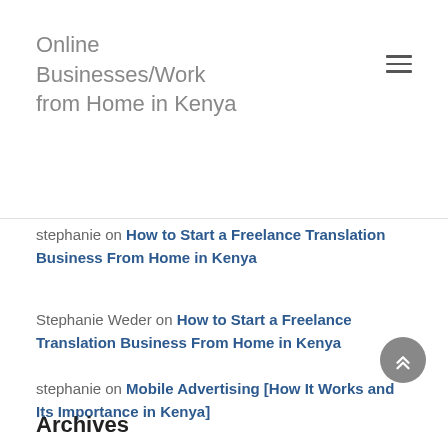Online Businesses/Work from Home in Kenya
stephanie on How to Start a Freelance Translation Business From Home in Kenya
Stephanie Weder on How to Start a Freelance Translation Business From Home in Kenya
stephanie on Mobile Advertising [How It Works and Its Importance in Kenya]
Archives